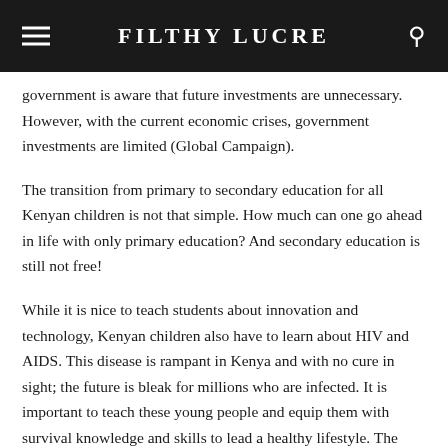FILTHY LUCRE
government is aware that future investments are unnecessary. However, with the current economic crises, government investments are limited (Global Campaign).
The transition from primary to secondary education for all Kenyan children is not that simple. How much can one go ahead in life with only primary education? And secondary education is still not free!
While it is nice to teach students about innovation and technology, Kenyan children also have to learn about HIV and AIDS. This disease is rampant in Kenya and with no cure in sight; the future is bleak for millions who are infected. It is important to teach these young people and equip them with survival knowledge and skills to lead a healthy lifestyle. The government has combined its effort with Undugu Society to